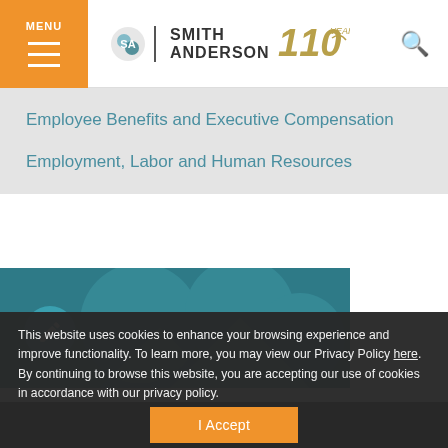MENU | Smith Anderson 110 Years
Employee Benefits and Executive Compensation
Employment, Labor and Human Resources
[Figure (screenshot): Teal background card with edit/pencil icon and decorative mountain silhouette circles overlay]
This website uses cookies to enhance your browsing experience and improve functionality. To learn more, you may view our Privacy Policy here. By continuing to browse this website, you are accepting our use of cookies in accordance with our privacy policy.
I Accept